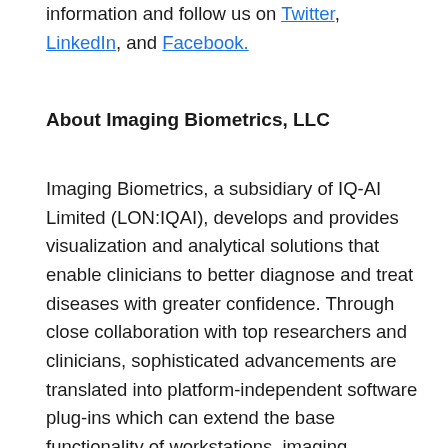information and follow us on Twitter, LinkedIn, and Facebook.
About Imaging Biometrics, LLC
Imaging Biometrics, a subsidiary of IQ-AI Limited (LON:IQAI), develops and provides visualization and analytical solutions that enable clinicians to better diagnose and treat diseases with greater confidence. Through close collaboration with top researchers and clinicians, sophisticated advancements are translated into platform-independent software plug-ins which can extend the base functionality of workstations, imaging systems, PACS, or medical viewers. By design, IB's advanced visualization software seamlessly